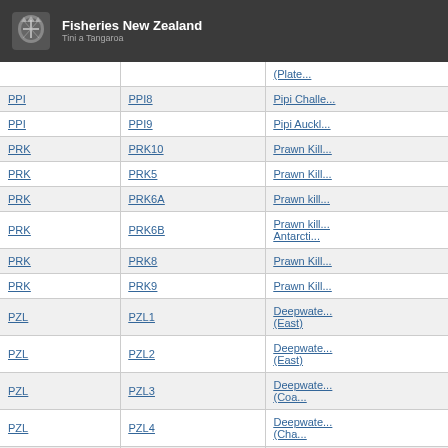Fisheries New Zealand | Tini a Tangaroa
| Code | Stock Code | Description |
| --- | --- | --- |
| PPI | PPI8 | Pipi Challe... |
| PPI | PPI9 | Pipi Auckl... |
| PRK | PRK10 | Prawn Kill... |
| PRK | PRK5 | Prawn Kill... |
| PRK | PRK6A | Prawn kill... |
| PRK | PRK6B | Prawn kill... Antarcti... |
| PRK | PRK8 | Prawn Kill... |
| PRK | PRK9 | Prawn Kill... |
| PZL | PZL1 | Deepwate... (East) |
| PZL | PZL2 | Deepwate... (East) |
| PZL | PZL3 | Deepwate... (Coa... |
| PZL | PZL4 | Deepwate... (Cha... |
| PZL | PZL5 | Deepwate... Sub... |
| PZL | PZL8 | Deepwate... (West) |